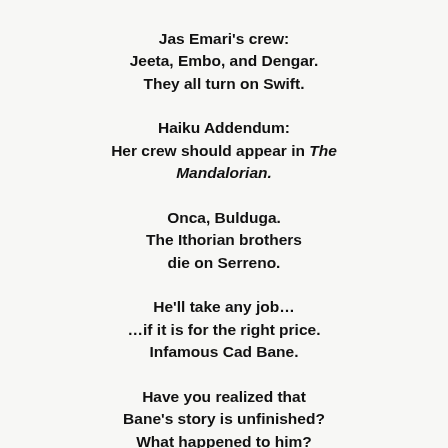Jas Emari's crew:
Jeeta, Embo, and Dengar.
They all turn on Swift.
Haiku Addendum:
Her crew should appear in The Mandalorian.
Onca, Bulduga.
The Ithorian brothers
die on Serreno.
He'll take any job…
…if it is for the right price.
Infamous Cad Bane.
Have you realized that
Bane's story is unfinished?
What happened to him?